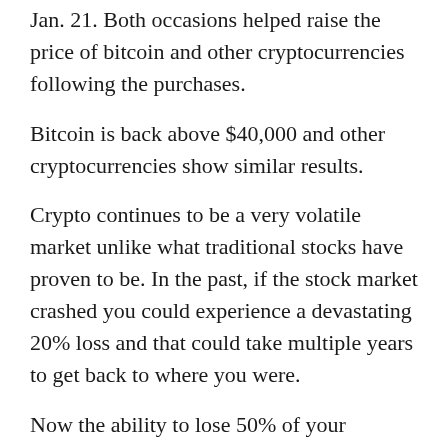Jan. 21. Both occasions helped raise the price of bitcoin and other cryptocurrencies following the purchases.
Bitcoin is back above $40,000 and other cryptocurrencies show similar results.
Crypto continues to be a very volatile market unlike what traditional stocks have proven to be. In the past, if the stock market crashed you could experience a devastating 20% loss and that could take multiple years to get back to where you were.
Now the ability to lose 50% of your portfolio with the near guarantee that it will come back in six months to a year has struck a chord with a lot of middle-aged and